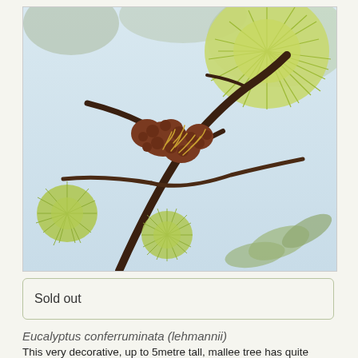[Figure (photo): Close-up photograph of Eucalyptus conferruminata (lehmannii) branches showing distinctive green spiky pom-pom flower clusters and brown seed pods against a soft-focus background of foliage.]
Sold out
Eucalyptus conferruminata (lehmannii)
This very decorative, up to 5metre tall, mallee tree has quite